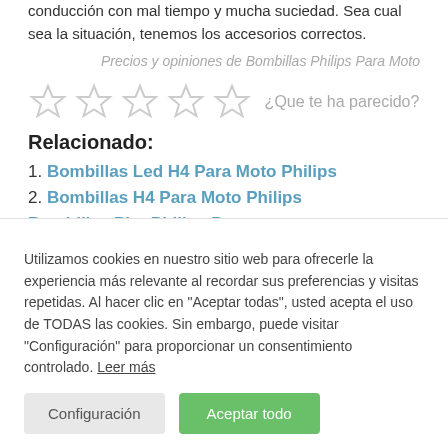conducción con mal tiempo y mucha suciedad. Sea cual sea la situación, tenemos los accesorios correctos.
Precios y opiniones de Bombillas Philips Para Moto
[Figure (other): Five empty star rating icons with text '¿Que te ha parecido?']
Relacionado:
1. Bombillas Led H4 Para Moto Philips
2. Bombillas H4 Para Moto Philips
Utilizamos cookies en nuestro sitio web para ofrecerle la experiencia más relevante al recordar sus preferencias y visitas repetidas. Al hacer clic en "Aceptar todas", usted acepta el uso de TODAS las cookies. Sin embargo, puede visitar "Configuración" para proporcionar un consentimiento controlado. Leer más